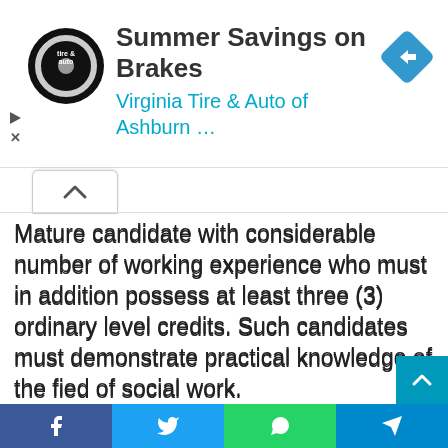[Figure (screenshot): Advertisement banner for Virginia Tire & Auto of Ashburn featuring logo, title 'Summer Savings on Brakes', and a blue navigation arrow icon]
Mature candidate with considerable number of working experience who must in addition possess at least three (3) ordinary level credits. Such candidates must demonstrate practical knowledge of the fied of social work.
(V) FACULTY OF ENGINEERING
DIPLOMA IN CHEMICAL
[Figure (screenshot): Social media sharing bar with Facebook, Twitter, WhatsApp, and Telegram buttons]